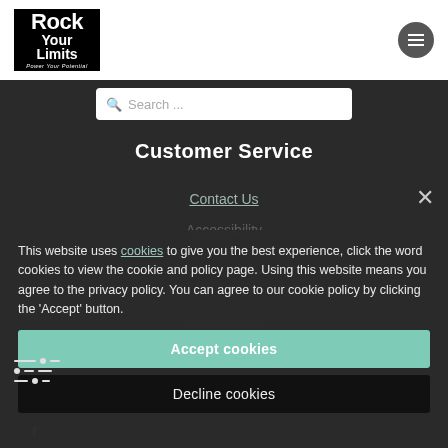[Figure (logo): Rock Your Limits - Power Your Potential logo in black box]
[Figure (other): Hamburger menu button (circle with three lines) in grey circle]
[Figure (other): Search bar with magnifying glass icon and placeholder text 'Search ...']
Customer Service
Contact Us
Accessibility
This website uses cookies to give you the best experience, click the word cookies to view the cookie and policy page. Using this website means you agree to the privacy policy. You can agree to our cookie policy by clicking the 'Accept' button.
[Figure (other): Accept cookies button (teal/mint green background)]
[Figure (other): Decline cookies button (black background)]